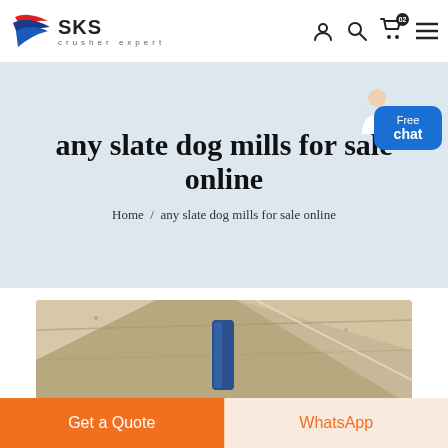SKS crusher expert
any slate dog mills for sale online
Home / any slate dog mills for sale online
[Figure (photo): Product image showing industrial crusher equipment from below, with blue cylindrical component visible]
Get a Quote
WhatsApp